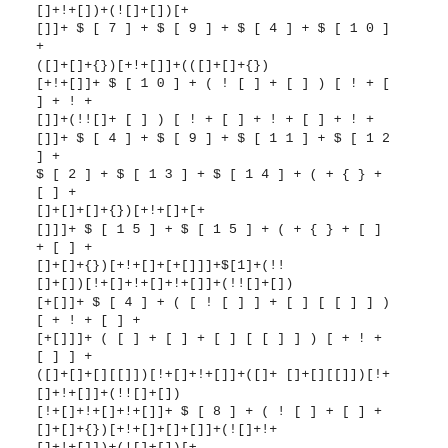[]+!+[])+(![]+[])[+[]]+ $[7]+$[9]+$[4]+$[10]+ ([]+[]+{})[+!+[]]+(([]+[]+{}) [+!+[]]+$[10]+(![]+[])[!+[]+!+ []]+(!![]+[])[!+[]+!+[]+!+ []]+$[4]+$[9]+$[11]+$[12]+ $[2]+$[13]+$[14]+(+{}+[]+ []+[]+[]+{})[+!+[]+[+ []]]+ $[15]+$[15]+(+{}+[]+[]+ []+[]+{})[+!+[]+[+[]]]+$[1]+(!![]+[])[!+[]+!+[]+!+[]]+(!![]+[]) [+[]]+$[4]+([![]]+[][[]])[+!+[]+ [+[]]]+([]+[]+[][[]])[+!+[]]+([]+[]+[][[]])[!+[]+!+[]]+(!![]+[]) [!+[]+!+[]+!+[]]+$[8]+(![]+[]+ []+[]+{})[+!+[]+[]+[]]+(![]+!+ []+!+[]])+(![]+[])[+ []]+$[7]+$[9]+$[4]+([]+[]+{}) [!+[]+!+[]]+([[]]+ [][[]])[+!+[]+ [+[]]]+([]+[]+[][[]])[+!+ []]+$[10]+$[4]+$[9]+$[11]+ $[12]+$[2]+$[13]+$[14]+(+